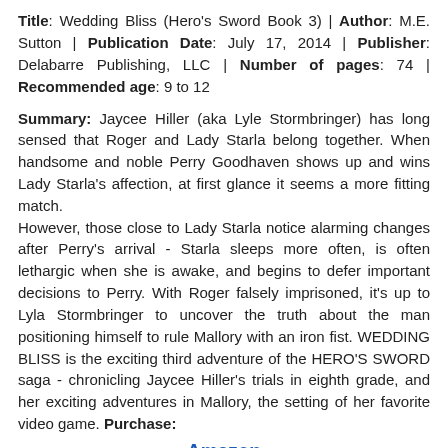Title: Wedding Bliss (Hero's Sword Book 3) | Author: M.E. Sutton | Publication Date: July 17, 2014 | Publisher: Delabarre Publishing, LLC | Number of pages: 74 | Recommended age: 9 to 12
Summary: Jaycee Hiller (aka Lyle Stormbringer) has long sensed that Roger and Lady Starla belong together. When handsome and noble Perry Goodhaven shows up and wins Lady Starla's affection, at first glance it seems a more fitting match. However, those close to Lady Starla notice alarming changes after Perry's arrival - Starla sleeps more often, is often lethargic when she is awake, and begins to defer important decisions to Perry. With Roger falsely imprisoned, it's up to Lyla Stormbringer to uncover the truth about the man positioning himself to rule Mallory with an iron fist. WEDDING BLISS is the exciting third adventure of the HERO'S SWORD saga - chronicling Jaycee Hiller's trials in eighth grade, and her exciting adventures in Mallory, the setting of her favorite video game. Purchase:
Amazon
The Buzz About the Books